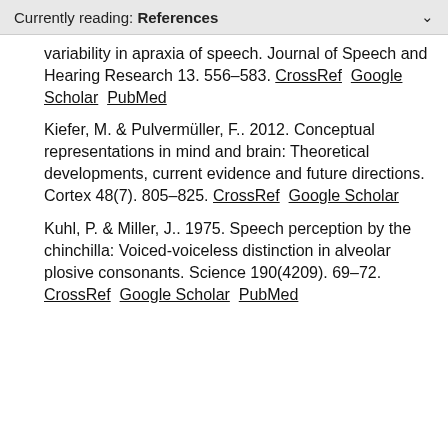Currently reading: References
variability in apraxia of speech. Journal of Speech and Hearing Research 13. 556–583. CrossRef  Google Scholar  PubMed
Kiefer, M. & Pulvermüller, F.. 2012. Conceptual representations in mind and brain: Theoretical developments, current evidence and future directions. Cortex 48(7). 805–825. CrossRef  Google Scholar
Kuhl, P. & Miller, J.. 1975. Speech perception by the chinchilla: Voiced-voiceless distinction in alveolar plosive consonants. Science 190(4209). 69–72. CrossRef  Google Scholar  PubMed